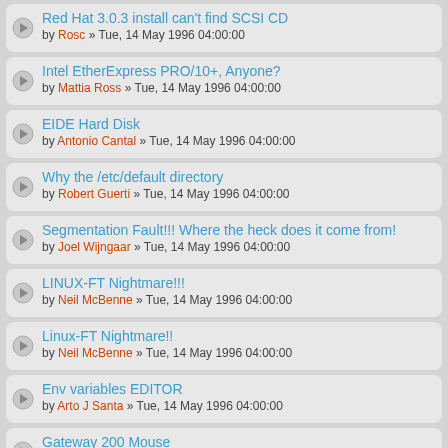Red Hat 3.0.3 install can't find SCSI CD
by Rosc » Tue, 14 May 1996 04:00:00
Intel EtherExpress PRO/10+, Anyone?
by Mattia Ross » Tue, 14 May 1996 04:00:00
EIDE Hard Disk
by Antonio Cantal » Tue, 14 May 1996 04:00:00
Why the /etc/default directory
by Robert Guerti » Tue, 14 May 1996 04:00:00
Segmentation Fault!!! Where the heck does it come from!
by Joel Wijngaar » Tue, 14 May 1996 04:00:00
LINUX-FT Nightmare!!!
by Neil McBenne » Tue, 14 May 1996 04:00:00
Linux-FT Nightmare!!
by Neil McBenne » Tue, 14 May 1996 04:00:00
Env variables EDITOR
by Arto J Santa » Tue, 14 May 1996 04:00:00
Gateway 200 Mouse
by Gary R Sekinge » Tue, 14 May 1996 04:00:00
tin query